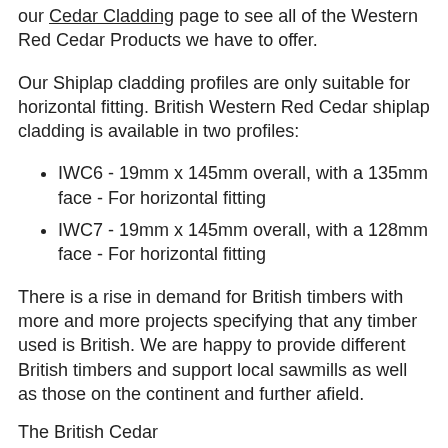our Cedar Cladding page to see all of the Western Red Cedar Products we have to offer.
Our Shiplap cladding profiles are only suitable for horizontal fitting. British Western Red Cedar shiplap cladding is available in two profiles:
IWC6 - 19mm x 145mm overall, with a 135mm face - For horizontal fitting
IWC7 - 19mm x 145mm overall, with a 128mm face - For horizontal fitting
There is a rise in demand for British timbers with more and more projects specifying that any timber used is British. We are happy to provide different British timbers and support local sawmills as well as those on the continent and further afield.
The British Cedar...